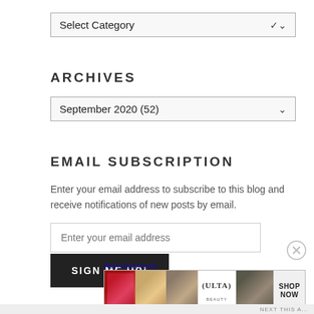[Figure (screenshot): Dropdown selector showing 'Select Category' with a down arrow, styled as a form select element]
ARCHIVES
[Figure (screenshot): Dropdown selector showing 'September 2020 (52)' with a down arrow]
EMAIL SUBSCRIPTION
Enter your email address to subscribe to this blog and receive notifications of new posts by email.
[Figure (screenshot): Text input field with placeholder text 'Enter your email address']
[Figure (screenshot): Dark button with text 'SIGN ME UP!']
Advertisements
[Figure (illustration): Ulta Beauty advertisement banner showing cosmetic images: lips with lipstick, makeup brush, eye with eyeshadow, Ulta logo, eye close-up, and 'SHOP NOW' text]